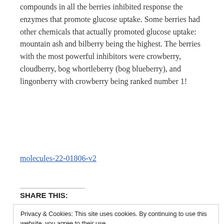compounds in all the berries inhibited response the enzymes that promote glucose uptake. Some berries had other chemicals that actually promoted glucose uptake: mountain ash and bilberry being the highest. The berries with the most powerful inhibitors were crowberry, cloudberry, bog whortleberry (bog blueberry), and lingonberry with crowberry being ranked number 1!
molecules-22-01806-v2
SHARE THIS:
Privacy & Cookies: This site uses cookies. By continuing to use this website, you agree to their use.
To find out more, including how to control cookies, see here: Cookie Policy